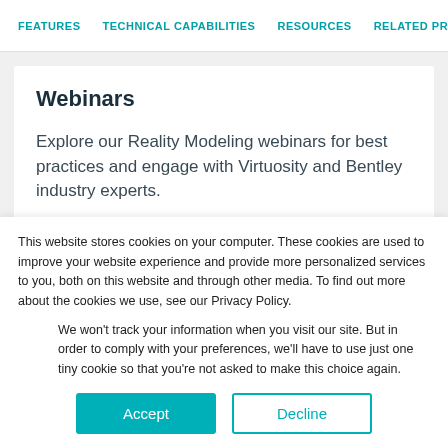FEATURES   TECHNICAL CAPABILITIES   RESOURCES   RELATED PRO
Webinars
Explore our Reality Modeling webinars for best practices and engage with Virtuosity and Bentley industry experts.
▶ Watch Now
This website stores cookies on your computer. These cookies are used to improve your website experience and provide more personalized services to you, both on this website and through other media. To find out more about the cookies we use, see our Privacy Policy.
We won't track your information when you visit our site. But in order to comply with your preferences, we'll have to use just one tiny cookie so that you're not asked to make this choice again.
Accept   Decline